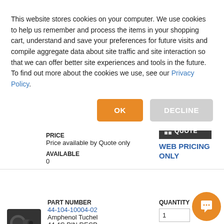This website stores cookies on your computer. We use cookies to help us remember and process the items in your shopping cart, understand and save your preferences for future visits and compile aggregate data about site traffic and site interaction so that we can offer better site experiences and tools in the future. To find out more about the cookies we use, see our Privacy Policy.
OK
DECLINE
PRICE
Price available by Quote only
AVAILABLE
0
WEB PRICING ONLY
PART NUMBER
44-104-10004-02
Amphenol Tuchel
44 4C PIN RECP
QUANTITY
1
PRICE
Price available by Quote only